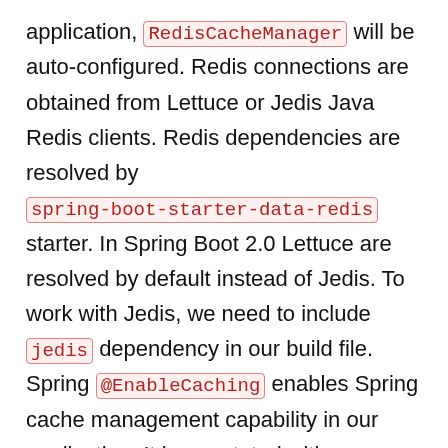application, RedisCacheManager will be auto-configured. Redis connections are obtained from Lettuce or Jedis Java Redis clients. Redis dependencies are resolved by spring-boot-starter-data-redis starter. In Spring Boot 2.0 Lettuce are resolved by default instead of Jedis. To work with Jedis, we need to include jedis dependency in our build file. Spring @EnableCaching enables Spring cache management capability in our application. It is annotated with @SpringBootApplication annotation. @Cacheable indicates that the result of invoking method can be cached and once result is